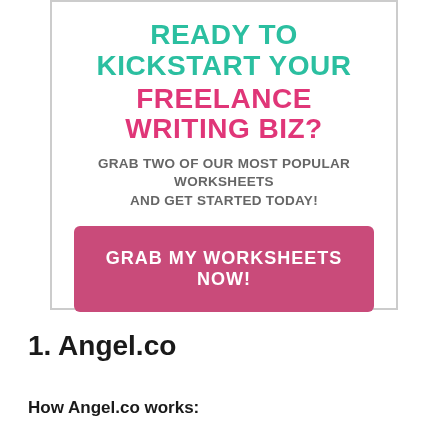Ready to Kickstart YOUR FREELANCE WRITING BIZ?
GRAB TWO OF OUR MOST POPULAR WORKSHEETS AND GET STARTED TODAY!
GRAB MY WORKSHEETS NOW!
1. Angel.co
How Angel.co works: